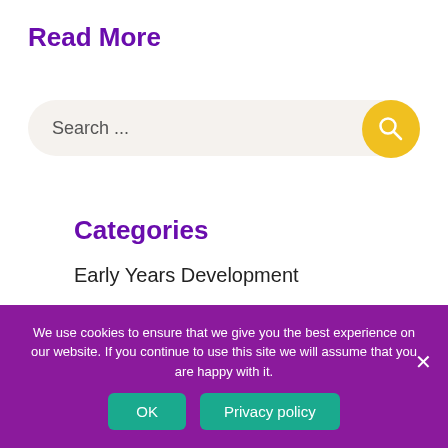Read More
[Figure (other): Search bar with text 'Search ...' and a yellow circular search button with magnifying glass icon]
Categories
Early Years Development
Events
We use cookies to ensure that we give you the best experience on our website. If you continue to use this site we will assume that you are happy with it.
OK    Privacy policy